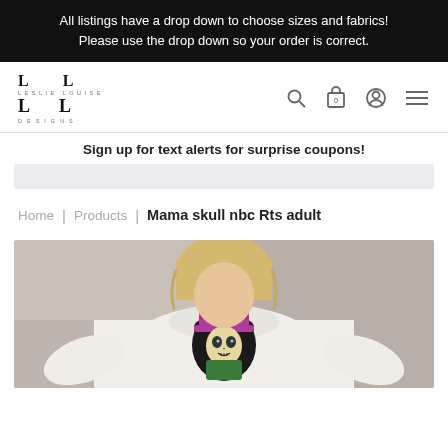All listings have a drop down to choose sizes and fabrics!
Please use the drop down so your order is correct.
[Figure (logo): LL Designs logo with stylized double L letters and 'DESIGNS' text below]
Sign up for text alerts for surprise coupons!
Home | Products | Mama skull nbc Rts adult
[Figure (photo): Woman wearing a white sweatshirt with a colorful mama skull NBC-style graphic print on the front, standing outdoors with a blurred background]